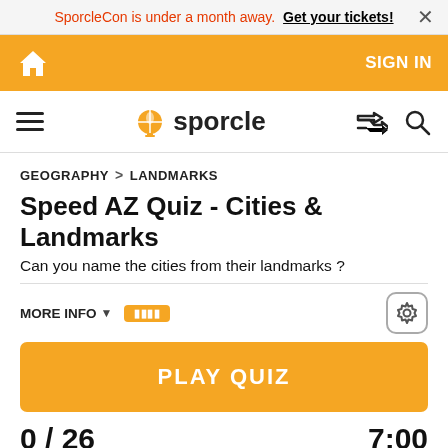SporcleCon is under a month away. Get your tickets!
SIGN IN
sporcle
GEOGRAPHY > LANDMARKS
Speed AZ Quiz - Cities & Landmarks
Can you name the cities from their landmarks ?
MORE INFO
PLAY QUIZ
0 / 26
7:00
CLUES
ANSWERS